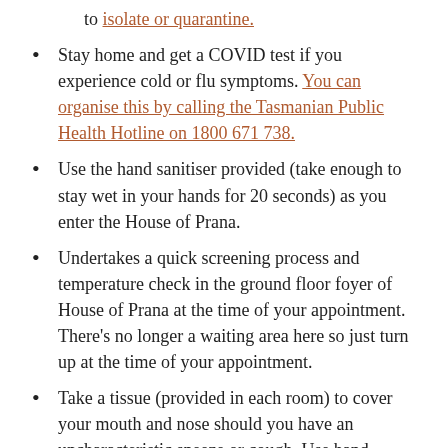to isolate or quarantine.
Stay home and get a COVID test if you experience cold or flu symptoms. You can organise this by calling the Tasmanian Public Health Hotline on 1800 671 738.
Use the hand sanitiser provided (take enough to stay wet in your hands for 20 seconds) as you enter the House of Prana.
Undertakes a quick screening process and temperature check in the ground floor foyer of House of Prana at the time of your appointment. There's no longer a waiting area here so just turn up at the time of your appointment.
Take a tissue (provided in each room) to cover your mouth and nose should you have an uncharacteristic sneeze or cough. Use hand sanitiser straight afterwards.
The steps we've outlined above ensure that we can provide the best of acupuncture care to you while minimising the